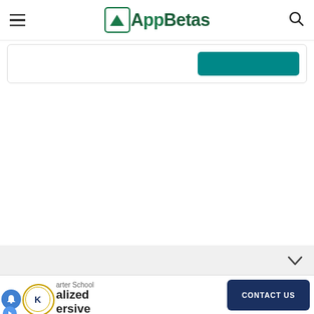AppBetas
[Figure (screenshot): Partial card with teal button visible at top right]
[Figure (screenshot): Bottom advertisement card showing charter school content with 'CONTACT US' button, notification bell icon, and K badge]